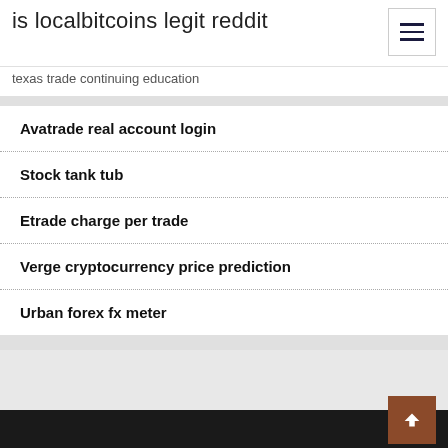is localbitcoins legit reddit
texas trade continuing education
Avatrade real account login
Stock tank tub
Etrade charge per trade
Verge cryptocurrency price prediction
Urban forex fx meter
Top Stories